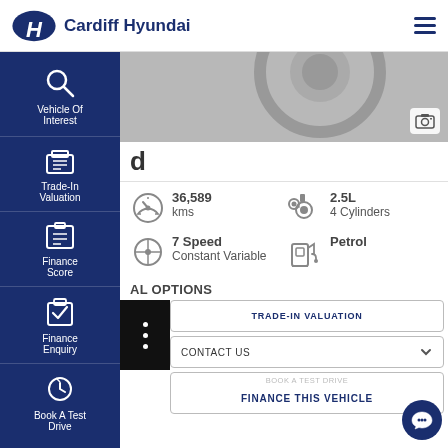Cardiff Hyundai
[Figure (screenshot): Car wheel/tyre image (greyscale partial)]
[Figure (screenshot): Left side navigation menu with icons: Vehicle Of Interest, Trade-In Valuation, Finance Score, Finance Enquiry, Book A Test Drive]
d
36,589 kms
2.5L 4 Cylinders
7 Speed Constant Variable
Petrol
AL OPTIONS
TRADE-IN VALUATION
CONTACT US
BOOK A TEST DRIVE
FINANCE THIS VEHICLE